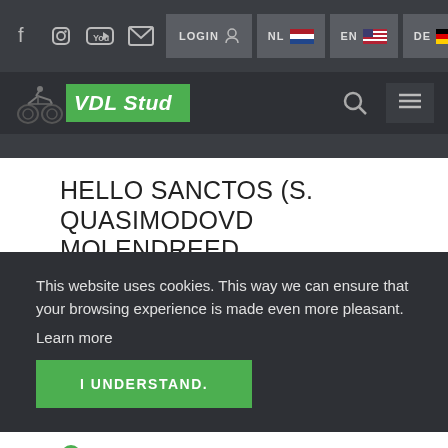VDL Stud - Navigation bar with social icons, LOGIN, NL, EN, DE language buttons
[Figure (logo): VDL Stud logo with motorcycle graphic and green banner]
HELLO SANCTOS (S. QUASIMODOVD MOLENDREED
This website uses cookies. This way we can ensure that your browsing experience is made even more pleasant.
Learn more
I UNDERSTAND.
Read more